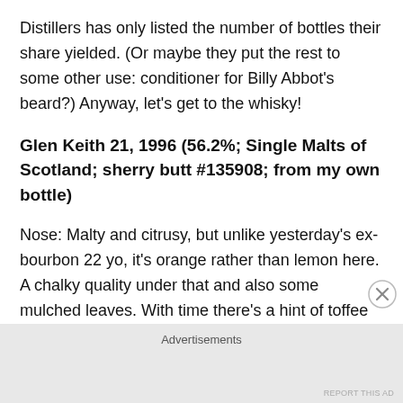Distillers has only listed the number of bottles their share yielded. (Or maybe they put the rest to some other use: conditioner for Billy Abbot's beard?) Anyway, let's get to the whisky!
Glen Keith 21, 1996 (56.2%; Single Malts of Scotland; sherry butt #135908; from my own bottle)
Nose: Malty and citrusy, but unlike yesterday's ex-bourbon 22 yo, it's orange rather than lemon here. A chalky quality under that and also some mulched leaves. With time there's a hint of toffee as well. With more time still the malt expands. With water the difference between this and the ex-bourbon cask blurs a little as it gets brighter and more
Advertisements